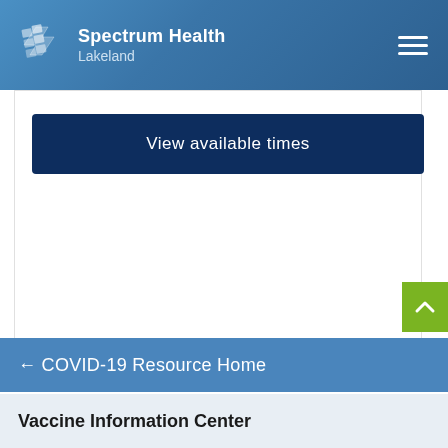Spectrum Health Lakeland
View available times
[Figure (screenshot): Green scroll-to-top button with upward arrow chevron]
← COVID-19 Resource Home
Vaccine Information Center